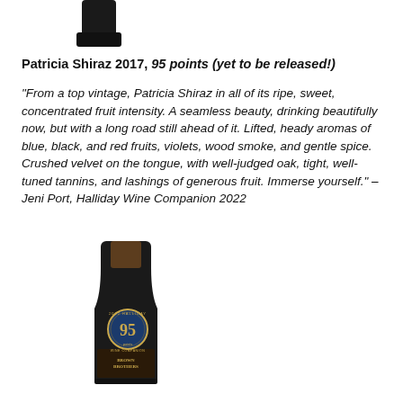[Figure (photo): Top portion of a dark wine bottle cap/capsule visible at the top of the page]
Patricia Shiraz 2017, 95 points (yet to be released!)
“From a top vintage, Patricia Shiraz in all of its ripe, sweet, concentrated fruit intensity. A seamless beauty, drinking beautifully now, but with a long road still ahead of it. Lifted, heady aromas of blue, black, and red fruits, violets, wood smoke, and gentle spice. Crushed velvet on the tongue, with well-judged oak, tight, well-tuned tannins, and lashings of generous fruit. Immerse yourself.” – Jeni Port, Halliday Wine Companion 2022
[Figure (photo): A dark wine bottle with a brown capsule and a circular gold/navy medal badge showing '95' points from the 2022 Halliday Wine Companion, with a label at the bottom reading 'Brown Brothers']